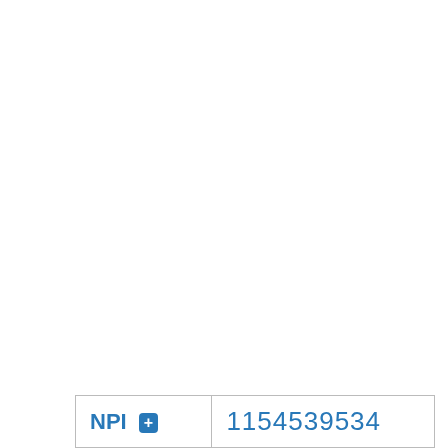| NPI | 1154539534 |
| --- | --- |